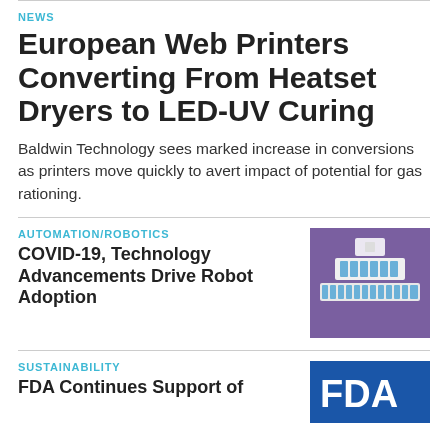NEWS
European Web Printers Converting From Heatset Dryers to LED-UV Curing
Baldwin Technology sees marked increase in conversions as printers move quickly to avert impact of potential for gas rationing.
AUTOMATION/ROBOTICS
COVID-19, Technology Advancements Drive Robot Adoption
[Figure (photo): Photo of robotic automation equipment on purple background showing white trays with blue vials arranged in rows]
SUSTAINABILITY
FDA Continues Support of
[Figure (logo): Partial blue FDA logo/sign visible at bottom right]